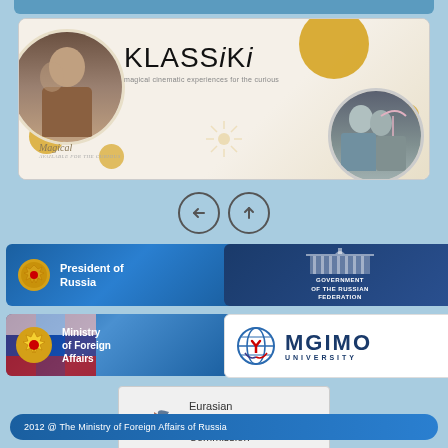[Figure (screenshot): KLASSiKi banner - magical cinematic experiences for the curious, with film portraits]
[Figure (screenshot): Navigation arrows - back and up]
[Figure (logo): President of Russia official link banner with coat of arms]
[Figure (logo): Government of the Russian Federation official link banner with building illustration and Russian flag]
[Figure (logo): Ministry of Foreign Affairs official link banner with coat of arms and Russian flag]
[Figure (logo): MGIMO University logo banner]
[Figure (logo): Eurasian Economic Commission logo and text]
2012 @ The Ministry of Foreign Affairs of Russia